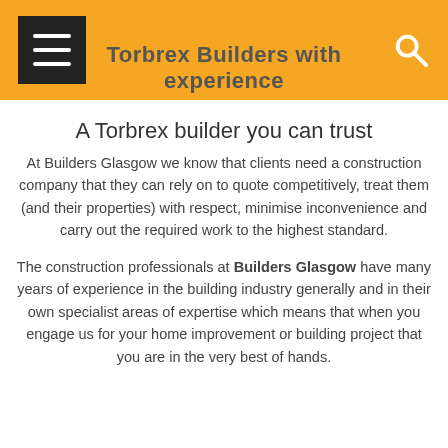Torbrex Builders with experience
A Torbrex builder you can trust
At Builders Glasgow we know that clients need a construction company that they can rely on to quote competitively, treat them (and their properties) with respect, minimise inconvenience and carry out the required work to the highest standard.
The construction professionals at Builders Glasgow have many years of experience in the building industry generally and in their own specialist areas of expertise which means that when you engage us for your home improvement or building project that you are in the very best of hands.